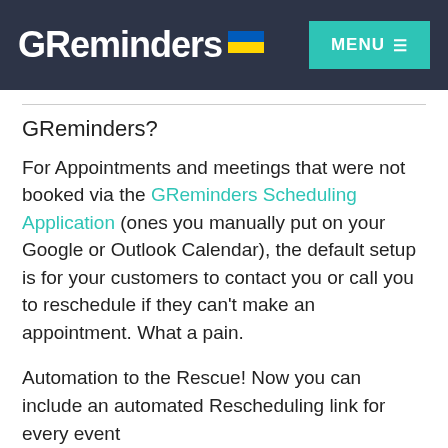GReminders [flag] MENU
GReminders?
For Appointments and meetings that were not booked via the GReminders Scheduling Application (ones you manually put on your Google or Outlook Calendar), the default setup is for your customers to contact you or call you to reschedule if they can't make an appointment. What a pain.
Automation to the Rescue! Now you can include an automated Rescheduling link for every event